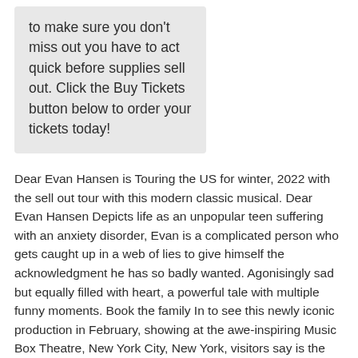to make sure you don't miss out you have to act quick before supplies sell out. Click the Buy Tickets button below to order your tickets today!
Dear Evan Hansen is Touring the US for winter, 2022 with the sell out tour with this modern classic musical. Dear Evan Hansen Depicts life as an unpopular teen suffering with an anxiety disorder, Evan is a complicated person who gets caught up in a web of lies to give himself the acknowledgment he has so badly wanted. Agonisingly sad but equally filled with heart, a powerful tale with multiple funny moments. Book the family In to see this newly iconic production in February, showing at the awe-inspiring Music Box Theatre, New York City, New York, visitors say is the unrivalled theatre house in the whole state for famous shows. Music Box Theatre is ideally situated in the middle of the city with an abundance of